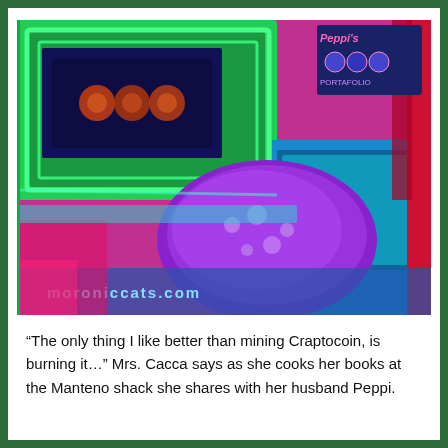[Figure (illustration): A colorful, psychedelic illustration depicting an interior scene with vivid neon colors — greens, magentas, blues, purples. Features cartoon-like elements including what appears to be a stove or appliance, figures, and text reading 'Peppi's PORTAFOLIO' in the upper right and 'moroniccats.com' along the bottom.]
“The only thing I like better than mining Craptocoin, is burning it…” Mrs. Cacca says as she cooks her books at the Manteno shack she shares with her husband Peppi.